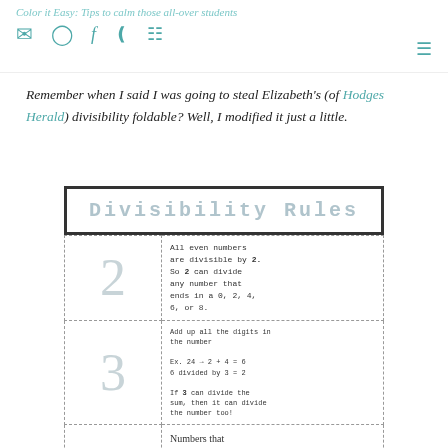Color it Easy: Tips to calm those all-over students
Remember when I said I was going to steal Elizabeth's (of Hodges Herald) divisibility foldable? Well, I modified it just a little.
[Figure (illustration): Divisibility Rules foldable worksheet showing a bordered title box reading 'Divisibility Rules' and a grid with rows for divisibility rules for 2, 3, and 5. Each row has a large faded number on the left and the rule text on the right.]